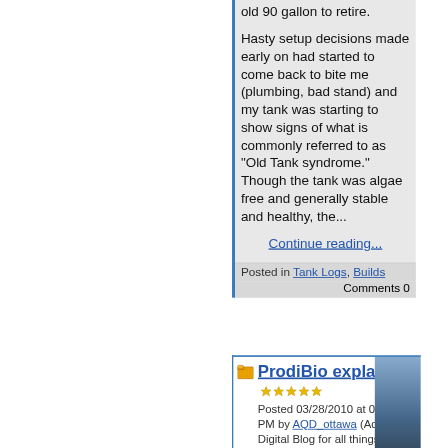old 90 gallon to retire.

Hasty setup decisions made early on had started to come back to bite me (plumbing, bad stand) and my tank was starting to show signs of what is commonly referred to as "Old Tank syndrome." Though the tank was algae free and generally stable and healthy, the...
Continue reading...
Posted in Tank Logs, Builds
Comments 0
ProdiBio explained
Posted 03/28/2010 at 07:19 PM by AQD_ottawa (Aqua Digital Blog for all things we distribute)